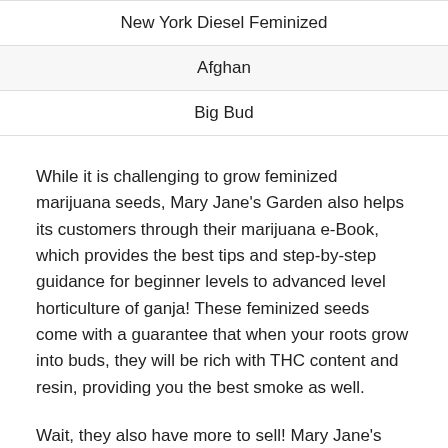| New York Diesel Feminized |
| Afghan |
| Big Bud |
While it is challenging to grow feminized marijuana seeds, Mary Jane's Garden also helps its customers through their marijuana e-Book, which provides the best tips and step-by-step guidance for beginner levels to advanced level horticulture of ganja! These feminized seeds come with a guarantee that when your roots grow into buds, they will be rich with THC content and resin, providing you the best smoke as well.
Wait, they also have more to sell! Mary Jane's Garden also